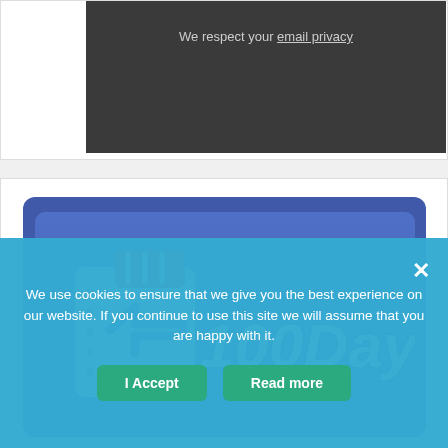We respect your email privacy
[Figure (logo): 100DayLoans logo on blue background — calendar icon with red tab and white bold italic text '100DayLoans']
We use cookies to ensure that we give you the best experience on our website. If you continue to use this site we will assume that you are happy with it.
I Accept
Read more